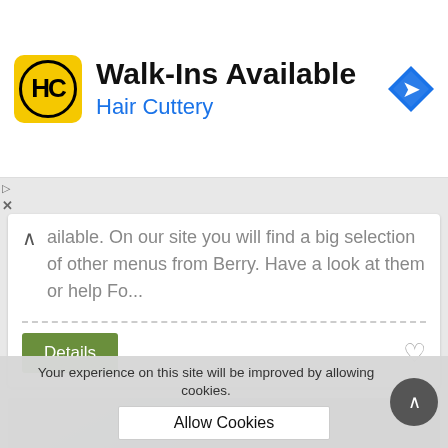[Figure (screenshot): Hair Cuttery ad banner with logo, 'Walk-Ins Available' title, 'Hair Cuttery' subtitle in blue, and navigation icon]
ailable. On our site you will find a big selection of other menus from Berry. Have a look at them or help Fo...
Details
[Figure (photo): Photo of a green notice card reading 'Your Attention please - Dear Guest, please be very attention when using the Shower and the water in the bathroom']
Your experience on this site will be improved by allowing cookies.
Allow Cookies